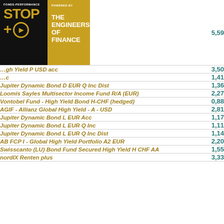[Figure (logo): Fonds-Performance STOP+GO powered by The Engineers of Finance logo]
| Fund Name | Value |
| --- | --- |
| [logo row] | 5,59 |
| [partial: ...gh Yield P USD acc] | 3,50 |
| [partial: ...c] | 1,41 |
| Jupiter Dynamic Bond D EUR Q Inc Dist | 1,36 |
| Loomis Sayles Multisector Income Fund R/A (EUR) | 2,27 |
| Vontobel Fund - High Yield Bond H-CHF (hedged) | 0,88 |
| AGIF - Allianz Global High Yield - A - USD | 2,81 |
| Jupiter Dynamic Bond L EUR Acc | 1,17 |
| Jupiter Dynamic Bond L EUR Q Inc | 1,11 |
| Jupiter Dynamic Bond L EUR Q Inc Dist | 1,14 |
| AB FCP I - Global High Yield Portfolio A2 EUR | 2,20 |
| Swisscanto (LU) Bond Fund Secured High Yield H CHF AA | 1,55 |
| nordIX Renten plus | 3,33 |